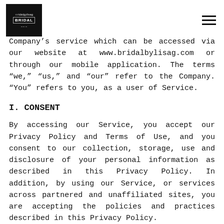[Bridal by Lisa G logo] [hamburger menu icon]
Company's service which can be accessed via our website at www.bridalbylisag.com or through our mobile application. The terms “we,” “us,” and “our” refer to the Company. “You” refers to you, as a user of Service.
I. CONSENT
By accessing our Service, you accept our Privacy Policy and Terms of Use, and you consent to our collection, storage, use and disclosure of your personal information as described in this Privacy Policy. In addition, by using our Service, or services across partnered and unaffiliated sites, you are accepting the policies and practices described in this Privacy Policy.